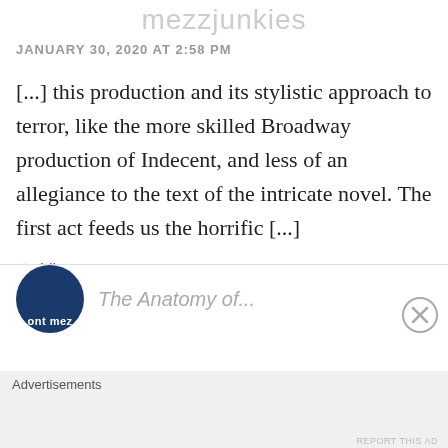mezzjunkies
JANUARY 30, 2020 AT 2:58 PM
[...] this production and its stylistic approach to terror, like the more skilled Broadway production of Indecent, and less of an allegiance to the text of the intricate novel. The first act feeds us the horrific [...]
Like
REPLY
Advertisements